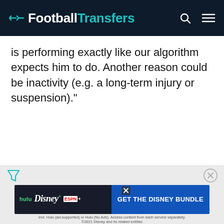FootballTransfers
is performing exactly like our algorithm expects him to do. Another reason could be inactivity (e.g. a long-term injury or suspension)."
[Figure (screenshot): Disney Bundle advertisement banner with Hulu, Disney+, ESPN+ logos and 'GET THE DISNEY BUNDLE' call to action]